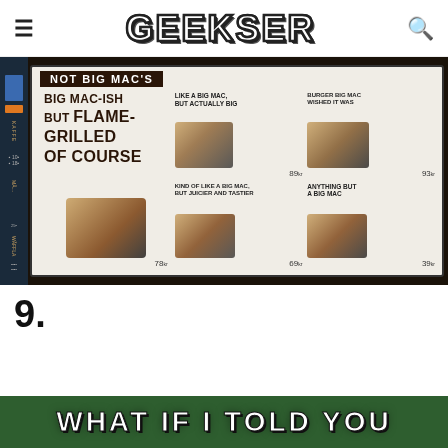GEEKSER
[Figure (photo): Burger King menu board photographed in-store showing products described as 'NOT BIG MAC'S' with items: 'LIKE A BIG MAC, BUT ACTUALLY BIG' (89kr), 'BURGER BIG MAC WISHED IT WAS' (93kr), 'BIG MAC-ISH BUT FLAME-GRILLED OF COURSE' (78kr), 'KIND OF LIKE A BIG MAC, BUT JUICIER AND TASTIER' (69kr), 'ANYTHING BUT A BIG MAC' (39kr)]
9.
[Figure (photo): Bottom strip showing start of 'WHAT IF I TOLD YOU' meme text in white Impact font on green background]